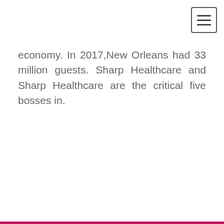[Figure (other): Hamburger menu button icon in top right corner, a square button with three horizontal lines]
economy. In 2017,New Orleans had 33 million guests. Sharp Healthcare and Sharp Healthcare are the critical five bosses in.